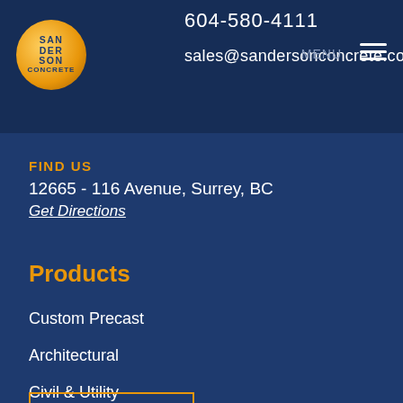[Figure (logo): Sanderson Concrete logo: golden sphere with company name text]
604-580-4111
sales@sandersonconcrete.com
FIND US
12665 - 116 Avenue, Surrey, BC
Get Directions
Products
Custom Precast
Architectural
Civil & Utility
Site Furnishings